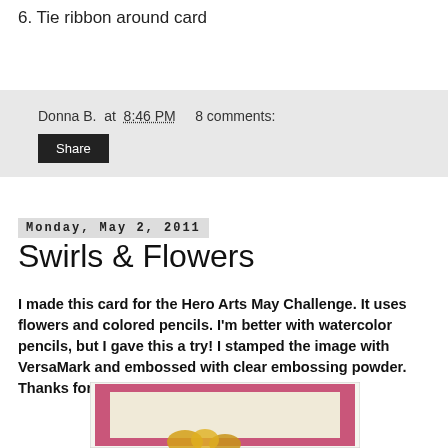6. Tie ribbon around card
Donna B. at 8:46 PM   8 comments:
Share
Monday, May 2, 2011
Swirls & Flowers
I made this card for the Hero Arts May Challenge. It uses flowers and colored pencils. I'm better with watercolor pencils, but I gave this a try! I stamped the image with VersaMark and embossed with clear embossing powder. Thanks for taking a look!
[Figure (photo): Partial view of a handmade card with a pink border and cream center, showing the bottom portion with gold/yellow stamped flowers visible at the bottom edge.]